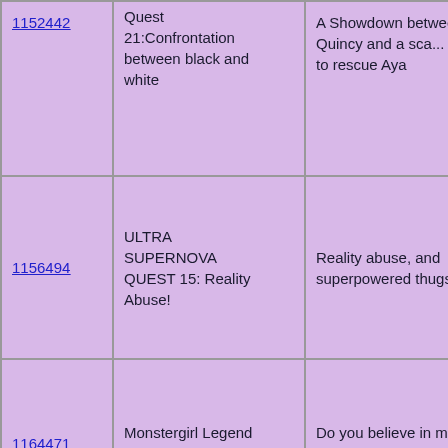| ID | Quest Title | Description |
| --- | --- | --- |
| 1152442 | Quest 21:Confrontation between black and white | A Showdown between mad Quincy and a sca... heads to rescue Aya |
| 1156494 | ULTRA SUPERNOVA QUEST 15: Reality Abuse! | Reality abuse, and superpowered thugs. And... |
| 1164471 | Monstergirl Legend Quest 8: Magic | Do you believe in magic and fairytales? A w... |
| 1174411 | Young Demon Familiar Quest 40 | Lust and Wrath |
|  |  |  |